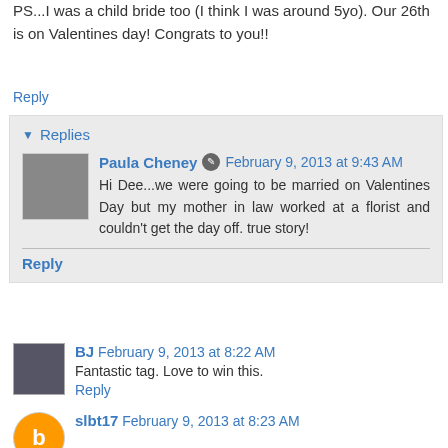PS...I was a child bride too (I think I was around 5yo). Our 26th is on Valentines day! Congrats to you!!
Reply
Replies
Paula Cheney  February 9, 2013 at 9:43 AM
Hi Dee...we were going to be married on Valentines Day but my mother in law worked at a florist and couldn't get the day off. true story!
Reply
BJ  February 9, 2013 at 8:22 AM
Fantastic tag. Love to win this.
Reply
slbt17  February 9, 2013 at 8:23 AM